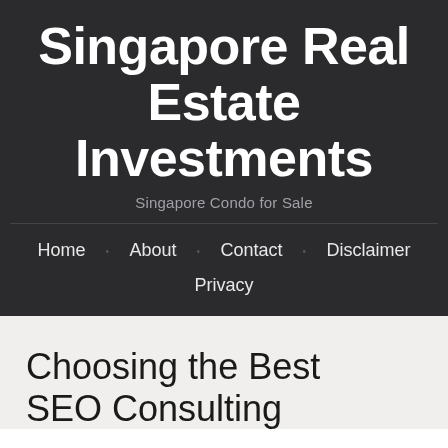Singapore Real Estate Investments
Singapore Condo for Sale
Home · About · Contact · Disclaimer · Privacy
Choosing the Best SEO Consulting